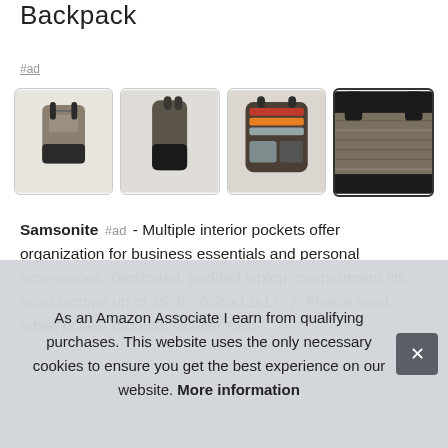Backpack
#ad
[Figure (photo): Four product thumbnail images of a Samsonite backpack: front view, side view, open interior view, and close-up texture view]
Samsonite #ad - Multiple interior pockets offer organization for business essentials and personal accessories. Dedicated, padded laptop compartment fits most laptops up to 15. 6". 6.25x12x17. 7. Fleece lined tablet pocket protects smaller elec
As an Amazon Associate I earn from qualifying purchases. This website uses the only necessary cookies to ensure you get the best experience on our website. More information